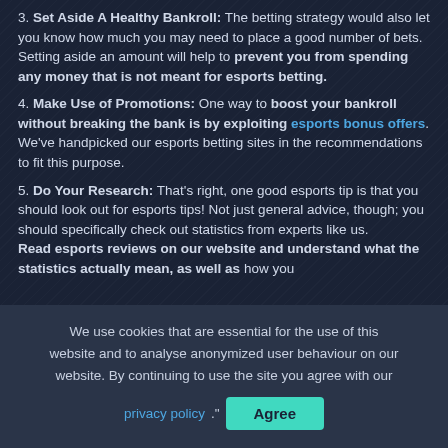3. Set Aside A Healthy Bankroll: The betting strategy would also let you know how much you may need to place a good number of bets. Setting aside an amount will help to prevent you from spending any money that is not meant for esports betting.
4. Make Use of Promotions: One way to boost your bankroll without breaking the bank is by exploiting esports bonus offers. We've handpicked our esports betting sites in the recommendations to fit this purpose.
5. Do Your Research: That's right, one good esports tip is that you should look out for esports tips! Not just general advice, though; you should specifically check out statistics from experts like us. Read esports reviews on our website and understand what the statistics actually mean, as well as how you
We use cookies that are essential for the use of this website and to analyse anonymized user behaviour on our website. By continuing to use the site you agree with our privacy policy. Agree